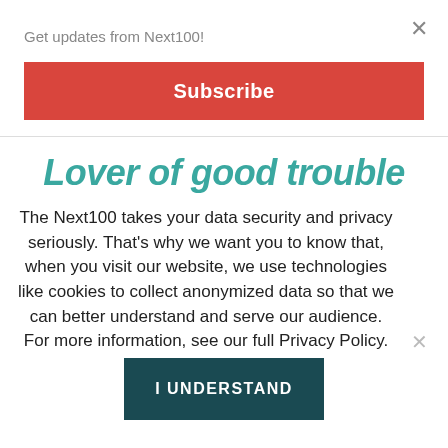Get updates from Next100!
×
Subscribe
Lover of good trouble
The Next100 takes your data security and privacy seriously. That's why we want you to know that, when you visit our website, we use technologies like cookies to collect anonymized data so that we can better understand and serve our audience. For more information, see our full Privacy Policy.
I UNDERSTAND